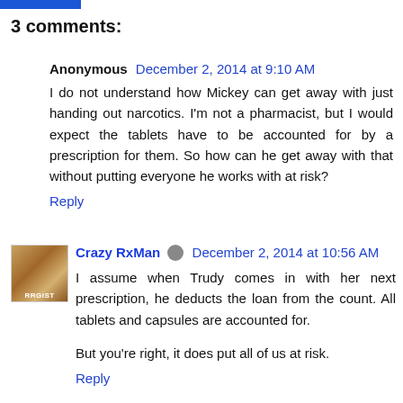3 comments:
Anonymous December 2, 2014 at 9:10 AM
I do not understand how Mickey can get away with just handing out narcotics. I'm not a pharmacist, but I would expect the tablets have to be accounted for by a prescription for them. So how can he get away with that without putting everyone he works with at risk?
Reply
Crazy RxMan December 2, 2014 at 10:56 AM
I assume when Trudy comes in with her next prescription, he deducts the loan from the count. All tablets and capsules are accounted for.
But you're right, it does put all of us at risk.
Reply